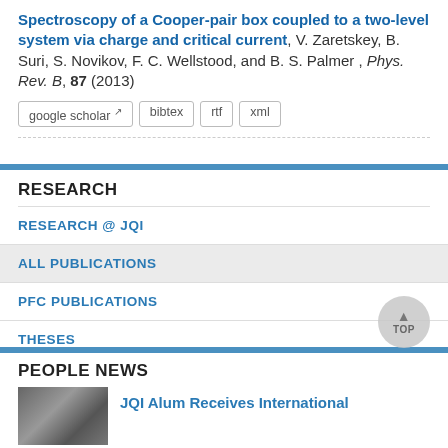Spectroscopy of a Cooper-pair box coupled to a two-level system via charge and critical current, V. Zaretskey, B. Suri, S. Novikov, F. C. Wellstood, and B. S. Palmer , Phys. Rev. B, 87 (2013)
google scholar
bibtex
rtf
xml
RESEARCH
RESEARCH @ JQI
ALL PUBLICATIONS
PFC PUBLICATIONS
THESES
PRESENTATIONS
PEOPLE NEWS
JQI Alum Receives International